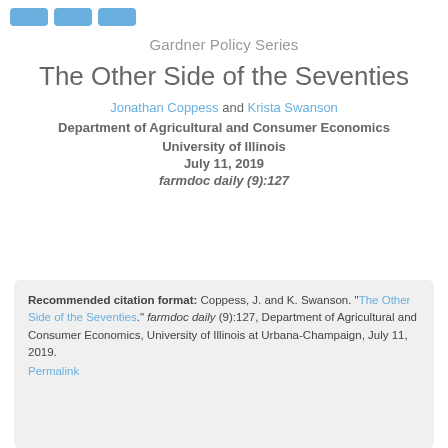[navigation buttons]
Gardner Policy Series
The Other Side of the Seventies
Jonathan Coppess and Krista Swanson
Department of Agricultural and Consumer Economics
University of Illinois
July 11, 2019
farmdoc daily (9):127
Recommended citation format: Coppess, J. and K. Swanson. "The Other Side of the Seventies." farmdoc daily (9):127, Department of Agricultural and Consumer Economics, University of Illinois at Urbana-Champaign, July 11, 2019.
Permalink